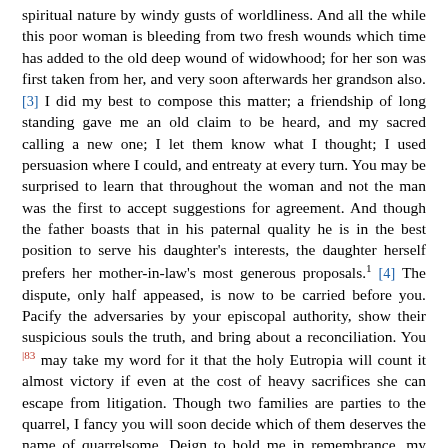spiritual nature by windy gusts of worldliness. And all the while this poor woman is bleeding from two fresh wounds which time has added to the old deep wound of widowhood; for her son was first taken from her, and very soon afterwards her grandson also. [3] I did my best to compose this matter; a friendship of long standing gave me an old claim to be heard, and my sacred calling a new one; I let them know what I thought; I used persuasion where I could, and entreaty at every turn. You may be surprised to learn that throughout the woman and not the man was the first to accept suggestions for agreement. And though the father boasts that in his paternal quality he is in the best position to serve his daughter's interests, the daughter herself prefers her mother-in-law's most generous proposals.[1] [4] The dispute, only half appeased, is now to be carried before you. Pacify the adversaries by your episcopal authority, show their suspicious souls the truth, and bring about a reconciliation. You |83 may take my word for it that the holy Eutropia will count it almost victory if even at the cost of heavy sacrifices she can escape from litigation. Though two families are parties to the quarrel, I fancy you will soon decide which of them deserves the name of quarrelsome. Deign to hold me in remembrance, my Lord Bishop.
III.
To the Lord Bishop Leontius